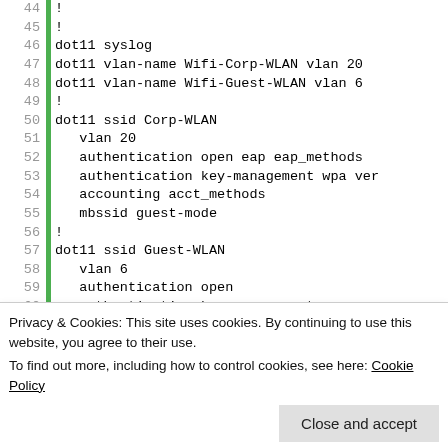[Figure (screenshot): Code listing showing network configuration script lines 44–63 with line numbers and green vertical bar. Lines include dot11 syslog, vlan-name, ssid configuration for Corp-WLAN and Guest-WLAN.]
Privacy & Cookies: This site uses cookies. By continuing to use this website, you agree to their use.
To find out more, including how to control cookies, see here: Cookie Policy
Close and accept